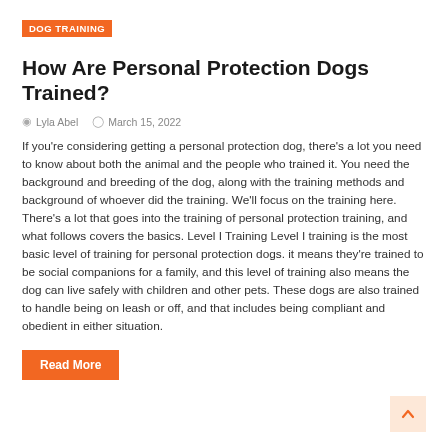DOG TRAINING
How Are Personal Protection Dogs Trained?
Lyla Abel   March 15, 2022
If you're considering getting a personal protection dog, there's a lot you need to know about both the animal and the people who trained it. You need the background and breeding of the dog, along with the training methods and background of whoever did the training. We'll focus on the training here. There's a lot that goes into the training of personal protection training, and what follows covers the basics. Level I Training Level I training is the most basic level of training for personal protection dogs. it means they're trained to be social companions for a family, and this level of training also means the dog can live safely with children and other pets. These dogs are also trained to handle being on leash or off, and that includes being compliant and obedient in either situation.
Read More